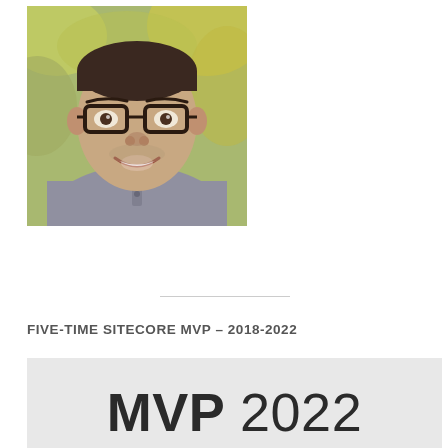[Figure (photo): Headshot of a smiling man wearing glasses and a gray henley shirt, with a blurred outdoor background with yellow-green foliage.]
FIVE-TIME SITECORE MVP – 2018-2022
[Figure (other): MVP 2022 badge/logo image on a light gray background, showing large bold text 'MVP 2022'.]